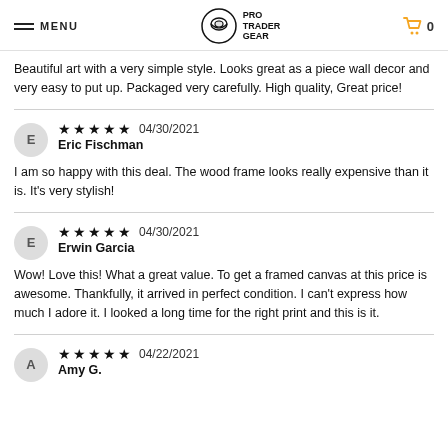MENU | PRO TRADER GEAR | Cart: 0
Beautiful art with a very simple style. Looks great as a piece wall decor and very easy to put up. Packaged very carefully. High quality, Great price!
★★★★★ 04/30/2021
Eric Fischman
I am so happy with this deal. The wood frame looks really expensive than it is. It's very stylish!
★★★★★ 04/30/2021
Erwin Garcia
Wow! Love this! What a great value. To get a framed canvas at this price is awesome. Thankfully, it arrived in perfect condition. I can't express how much I adore it. I looked a long time for the right print and this is it.
★★★★★ 04/22/2021
Amy G.